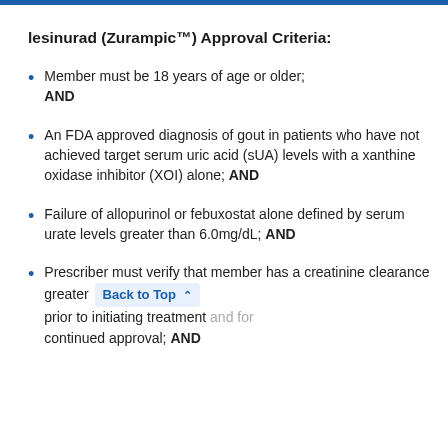lesinurad (Zurampic™) Approval Criteria:
Member must be 18 years of age or older; AND
An FDA approved diagnosis of gout in patients who have not achieved target serum uric acid (sUA) levels with a xanthine oxidase inhibitor (XOI) alone; AND
Failure of allopurinol or febuxostat alone defined by serum urate levels greater than 6.0mg/dL; AND
Prescriber must verify that member has a creatinine clearance greater than 45mL/min prior to initiating treatment and for continued approval; AND